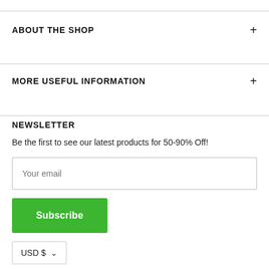ABOUT THE SHOP
MORE USEFUL INFORMATION
NEWSLETTER
Be the first to see our latest products for 50-90% Off!
Your email
Subscribe
USD $